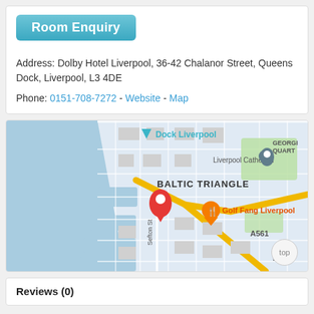Room Enquiry
Address: Dolby Hotel Liverpool, 36-42 Chalanor Street, Queens Dock, Liverpool, L3 4DE
Phone: 0151-708-7272 - Website - Map
[Figure (map): Google Maps screenshot showing the location of Dolby Hotel Liverpool near Queens Dock. Labels visible: Dock Liverpool, Liverpool Cathedral, BALTIC TRIANGLE, GEORGI QUART, Golf Fang Liverpool, A561, B5177, Sefton St. A red location pin marks the hotel, and an orange restaurant marker shows Golf Fang Liverpool.]
Reviews (0)